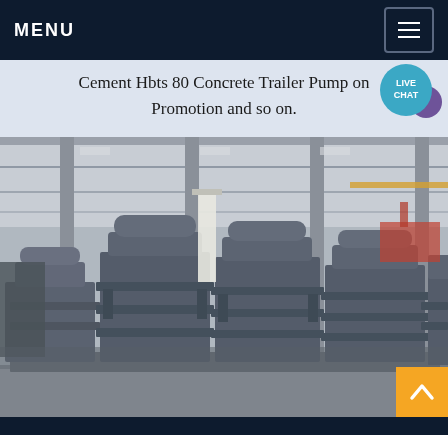MENU
Cement Hbts 80 Concrete Trailer Pump on Promotion and so on.
[Figure (photo): Industrial factory floor showing multiple large grey cylindrical vertical mill or crusher machines lined up in a row inside a steel-framed warehouse/manufacturing facility. The machines are heavy industrial equipment mounted on flat bases.]